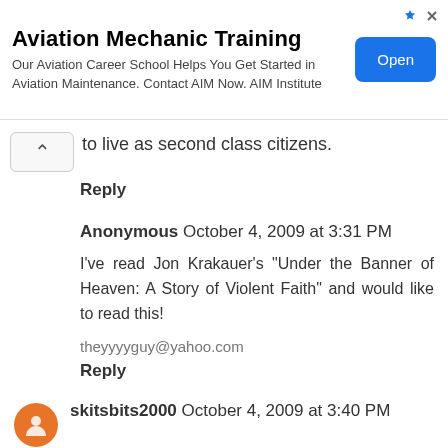[Figure (other): Advertisement banner for Aviation Mechanic Training with Open button]
to live as second class citizens.
Reply
Anonymous October 4, 2009 at 3:31 PM
I've read Jon Krakauer's "Under the Banner of Heaven: A Story of Violent Faith" and would like to read this!
theyyyyguy@yahoo.com
Reply
skitsbits2000 October 4, 2009 at 3:40 PM